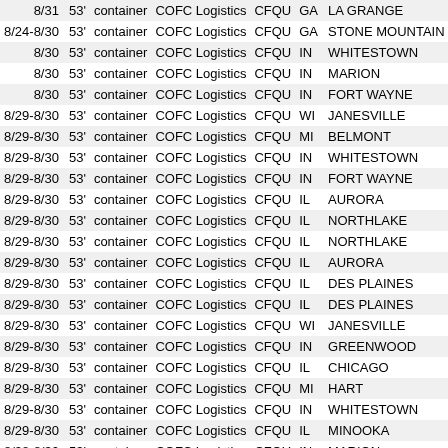| Date | Size | Type | Company | Code | State | City |
| --- | --- | --- | --- | --- | --- | --- |
| 8/31 | 53' | container | COFC Logistics | CFQU | GA | LA GRANGE |
| 8/24-8/30 | 53' | container | COFC Logistics | CFQU | GA | STONE MOUNTAIN |
| 8/30 | 53' | container | COFC Logistics | CFQU | IN | WHITESTOWN |
| 8/30 | 53' | container | COFC Logistics | CFQU | IN | MARION |
| 8/30 | 53' | container | COFC Logistics | CFQU | IN | FORT WAYNE |
| 8/29-8/30 | 53' | container | COFC Logistics | CFQU | WI | JANESVILLE |
| 8/29-8/30 | 53' | container | COFC Logistics | CFQU | MI | BELMONT |
| 8/29-8/30 | 53' | container | COFC Logistics | CFQU | IN | WHITESTOWN |
| 8/29-8/30 | 53' | container | COFC Logistics | CFQU | IN | FORT WAYNE |
| 8/29-8/30 | 53' | container | COFC Logistics | CFQU | IL | AURORA |
| 8/29-8/30 | 53' | container | COFC Logistics | CFQU | IL | NORTHLAKE |
| 8/29-8/30 | 53' | container | COFC Logistics | CFQU | IL | NORTHLAKE |
| 8/29-8/30 | 53' | container | COFC Logistics | CFQU | IL | AURORA |
| 8/29-8/30 | 53' | container | COFC Logistics | CFQU | IL | DES PLAINES |
| 8/29-8/30 | 53' | container | COFC Logistics | CFQU | IL | DES PLAINES |
| 8/29-8/30 | 53' | container | COFC Logistics | CFQU | WI | JANESVILLE |
| 8/29-8/30 | 53' | container | COFC Logistics | CFQU | IN | GREENWOOD |
| 8/29-8/30 | 53' | container | COFC Logistics | CFQU | IL | CHICAGO |
| 8/29-8/30 | 53' | container | COFC Logistics | CFQU | MI | HART |
| 8/29-8/30 | 53' | container | COFC Logistics | CFQU | IN | WHITESTOWN |
| 8/29-8/30 | 53' | container | COFC Logistics | CFQU | IL | MINOOKA |
| 8/28-8/30 | 53' | container | COFC Logistics | CFQU | IN | MARION |
| 8/28-8/30 | 53' | container | COFC Logistics | CFQU | IN | MARION |